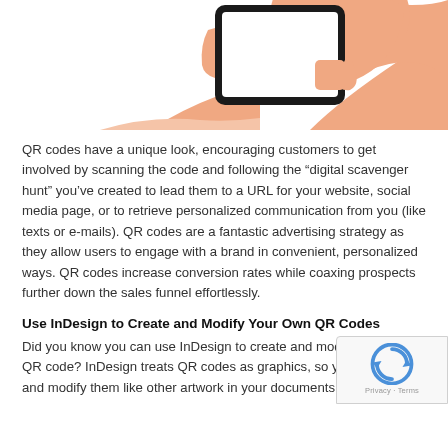[Figure (illustration): Illustration of a person holding a smartphone up to scan a QR code, shown from the neck down, with peach/orange skin tones and a white/black phone.]
QR codes have a unique look, encouraging customers to get involved by scanning the code and following the “digital scavenger hunt” you’ve created to lead them to a URL for your website, social media page, or to retrieve personalized communication from you (like texts or e-mails). QR codes are a fantastic advertising strategy as they allow users to engage with a brand in convenient, personalized ways. QR codes increase conversion rates while coaxing prospects further down the sales funnel effortlessly.
Use InDesign to Create and Modify Your Own QR Codes
Did you know you can use InDesign to create and modify your own QR code? InDesign treats QR codes as graphics, so you can place and modify them like other artwork in your documents.